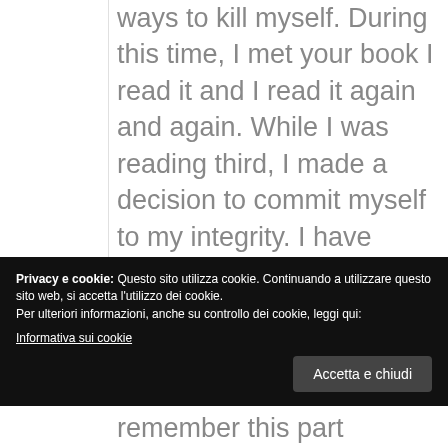ways to kill myself. During this time, I met your book I read it and I read it again and again. While I was reading third, I made a decision to commit myself to my integrity. I have been trying all ways to reach my integrity, but everytime I try, I turn back to my divided life. When I
Privacy e cookie: Questo sito utilizza cookie. Continuando a utilizzare questo sito web, si accetta l'utilizzo dei cookie. Per ulteriori informazioni, anche su controllo dei cookie, leggi qui: Informativa sui cookie
remember this part